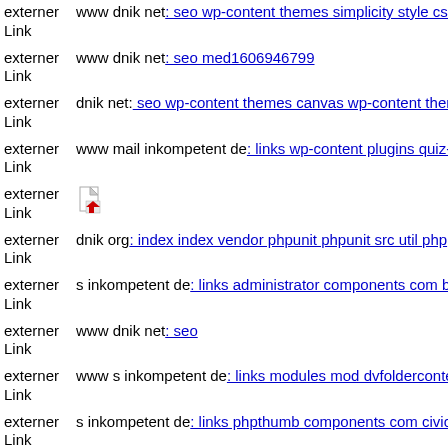externer Link   www dnik net: seo wp-content themes simplicity style css
externer Link   www dnik net: seo med1606946799
externer Link   dnik net: seo wp-content themes canvas wp-content themes
externer Link   www mail inkompetent de: links wp-content plugins quiz-m
externer Link   [icon]
externer Link   dnik org: index index vendor phpunit phpunit src util php
externer Link   s inkompetent de: links administrator components com b2jc
externer Link   www dnik net: seo
externer Link   www s inkompetent de: links modules mod dvfoldercontent
externer Link   s inkompetent de: links phpthumb components com civicrm
externer Link   www dnik net: seo media system js magmi web skin compo